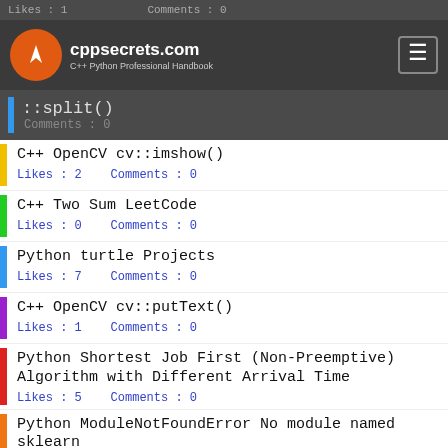cppsecrets.com — C++ Python Professional Handbook
C++ OpenCV cv::imshow()
Likes : 2    Comments : 0
C++ Two Sum LeetCode
Likes : 0    Comments : 0
Python turtle Projects
Likes : 7    Comments : 0
C++ OpenCV cv::putText()
Likes : 1    Comments : 0
Python Shortest Job First (Non-Preemptive) Algorithm with Different Arrival Time
Likes : 5    Comments : 0
Python ModuleNotFoundError No module named sklearn
Likes : 3    Comments : 0
Python prettytable tutorial - generates tables in python with prettytables
Likes : 2    Comments : 0
Django MCQ
Likes : 1    Comments : 0